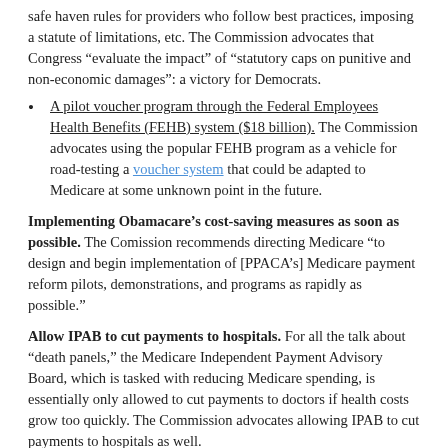safe haven rules for providers who follow best practices, imposing a statute of limitations, etc. The Commission advocates that Congress “evaluate the impact” of “statutory caps on punitive and non-economic damages”: a victory for Democrats.
A pilot voucher program through the Federal Employees Health Benefits (FEHB) system ($18 billion). The Commission advocates using the popular FEHB program as a vehicle for road-testing a voucher system that could be adapted to Medicare at some unknown point in the future.
Implementing Obamacare’s cost-saving measures as soon as possible. The Comission recommends directing Medicare “to design and begin implementation of [PPACA’s] Medicare payment reform pilots, demonstrations, and programs as rapidly as possible.”
Allow IPAB to cut payments to hospitals. For all the talk about “death panels,” the Medicare Independent Payment Advisory Board, which is tasked with reducing Medicare spending, is essentially only allowed to cut payments to doctors if health costs grow too quickly. The Commission advocates allowing IPAB to cut payments to hospitals as well.